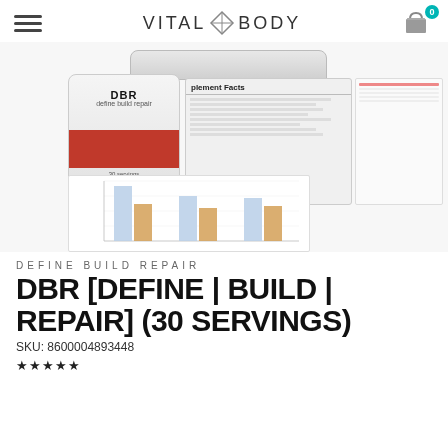VITAL BODY
[Figure (photo): Product photo of DBR supplement container and product label/info sheets with a bar chart thumbnail visible]
DEFINE BUILD REPAIR
DBR [DEFINE | BUILD | REPAIR] (30 SERVINGS)
SKU: 8600004893448